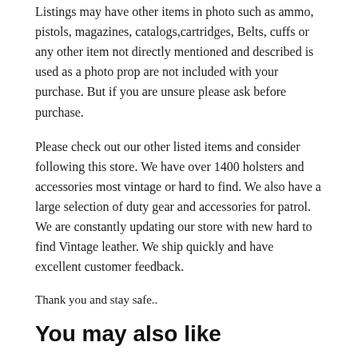Listings may have other items in photo such as ammo, pistols, magazines, catalogs,cartridges, Belts, cuffs or any other item not directly mentioned and described is used as a photo prop are not included with your purchase. But if you are unsure please ask before purchase.
Please check out our other listed items and consider following this store. We have over 1400 holsters and accessories most vintage or hard to find. We also have a large selection of duty gear and accessories for patrol. We are constantly updating our store with new hard to find Vintage leather. We ship quickly and have excellent customer feedback.
Thank you and stay safe..
You may also like